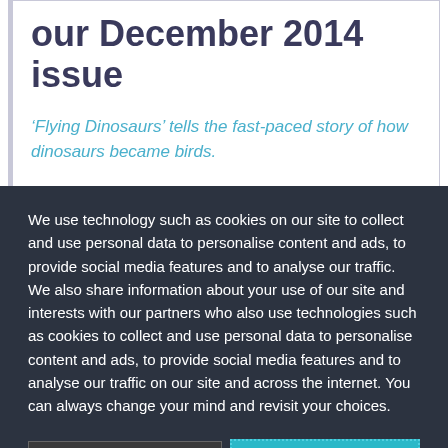our December 2014 issue
‘Flying Dinosaurs’ tells the fast-paced story of how dinosaurs became birds.
We use technology such as cookies on our site to collect and use personal data to personalise content and ads, to provide social media features and to analyse our traffic. We also share information about your use of our site and interests with our partners who also use technologies such as cookies to collect and use personal data to personalise content and ads, to provide social media features and to analyse our traffic on our site and across the internet. You can always change your mind and revisit your choices.
Manage Options
I Accept